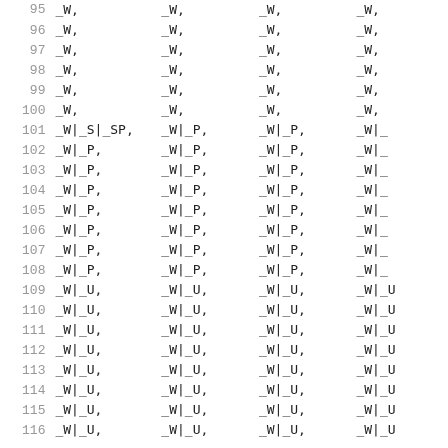| Row | Col1 | Col2 | Col3 | Col4 |
| --- | --- | --- | --- | --- |
| 95 | _W, | _W, | _W, | _W, |
| 96 | _W, | _W, | _W, | _W, |
| 97 | _W, | _W, | _W, | _W, |
| 98 | _W, | _W, | _W, | _W, |
| 99 | _W, | _W, | _W, | _W, |
| 100 | _W, | _W, | _W, | _W, |
| 101 | _W|_S|_SP, | _W|_P, | _W|_P, | _W|_ |
| 102 | _W|_P, | _W|_P, | _W|_P, | _W|_ |
| 103 | _W|_P, | _W|_P, | _W|_P, | _W|_ |
| 104 | _W|_P, | _W|_P, | _W|_P, | _W|_ |
| 105 | _W|_P, | _W|_P, | _W|_P, | _W|_ |
| 106 | _W|_P, | _W|_P, | _W|_P, | _W|_ |
| 107 | _W|_P, | _W|_P, | _W|_P, | _W|_ |
| 108 | _W|_P, | _W|_P, | _W|_P, | _W|_ |
| 109 | _W|_U, | _W|_U, | _W|_U, | _W|_U |
| 110 | _W|_U, | _W|_U, | _W|_U, | _W|_U |
| 111 | _W|_U, | _W|_U, | _W|_U, | _W|_U |
| 112 | _W|_U, | _W|_U, | _W|_U, | _W|_U |
| 113 | _W|_U, | _W|_U, | _W|_U, | _W|_U |
| 114 | _W|_U, | _W|_U, | _W|_U, | _W|_U |
| 115 | _W|_U, | _W|_U, | _W|_U, | _W|_U |
| 116 | _W|_U, | _W|_U, | _W|_U, | _W|_U |